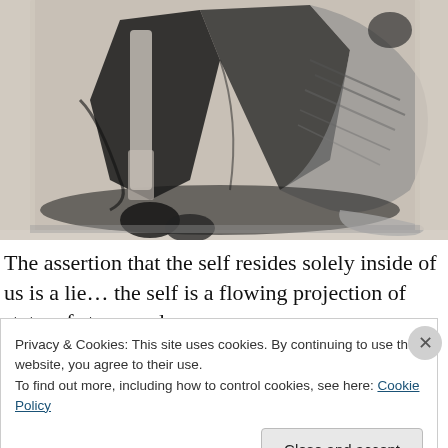[Figure (illustration): Black and white charcoal or ink drawing/artwork showing an animal (possibly a dog or large cat) rendered in loose, gestural strokes on a light beige/cream background. The image shows the lower body, legs and paws with expressive dark shading.]
The assertion that the self resides solely inside of us is a lie… the self is a flowing projection of state, of story, and a
Privacy & Cookies: This site uses cookies. By continuing to use this website, you agree to their use.
To find out more, including how to control cookies, see here: Cookie Policy